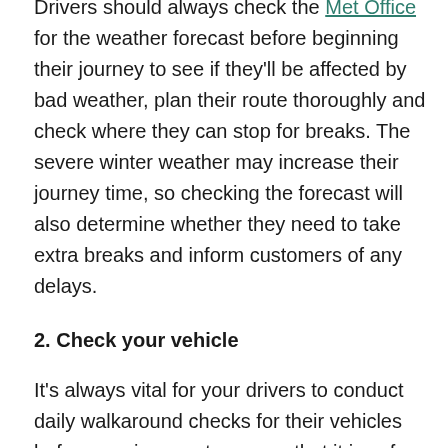Drivers should always check the Met Office for the weather forecast before beginning their journey to see if they'll be affected by bad weather, plan their route thoroughly and check where they can stop for breaks. The severe winter weather may increase their journey time, so checking the forecast will also determine whether they need to take extra breaks and inform customers of any delays.
2. Check your vehicle
It's always vital for your drivers to conduct daily walkaround checks for their vehicles before any journey to ensure that it is safe to drive. They should thoroughly check the inside and outside of the vehicle to make sure that everything is in working order. For